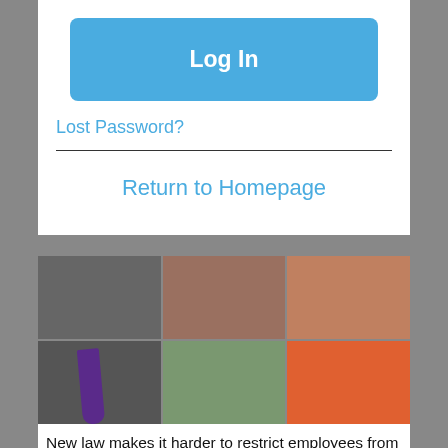Log In
Lost Password?
Return to Homepage
[Figure (photo): Composite photo of three people: a man in a dark suit with purple tie, a woman in a light teal/mint blazer, and a woman in an orange top]
New law makes it harder to restrict employees from going to competitor
[Figure (photo): Outdoor photo with blue sky, trees, and what appears to be a sculpture or monument]